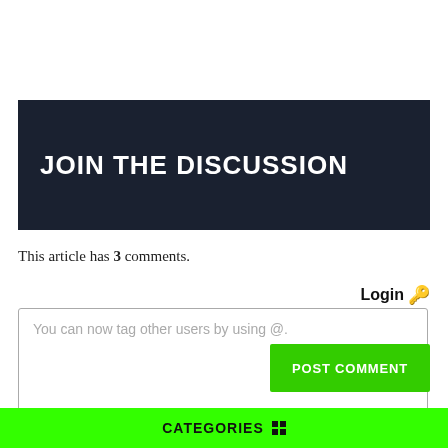JOIN THE DISCUSSION
This article has 3 comments.
Login 🔑
You can now tag other users by using @.
POST COMMENT
CATEGORIES